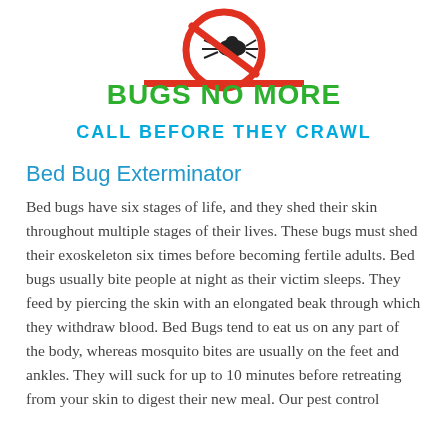[Figure (logo): Bugs No More pest control logo: a red circular no-entry style symbol with a black bug silhouette, red horizontal bar beneath it, green bold text 'BUGS NO MORE', blue bold text 'CALL BEFORE THEY CRAWL']
Bed Bug Exterminator
Bed bugs have six stages of life, and they shed their skin throughout multiple stages of their lives. These bugs must shed their exoskeleton six times before becoming fertile adults. Bed bugs usually bite people at night as their victim sleeps. They feed by piercing the skin with an elongated beak through which they withdraw blood. Bed Bugs tend to eat us on any part of the body, whereas mosquito bites are usually on the feet and ankles. They will suck for up to 10 minutes before retreating from your skin to digest their new meal. Our pest control